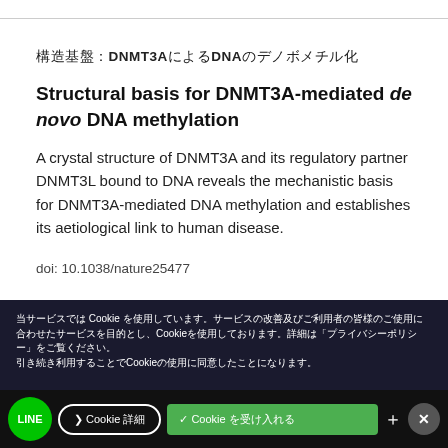DNMT3AによるDNAのデノボメチル化の構造基盤
Structural basis for DNMT3A-mediated de novo DNA methylation
A crystal structure of DNMT3A and its regulatory partner DNMT3L bound to DNA reveals the mechanistic basis for DNMT3A-mediated DNA methylation and establishes its aetiological link to human disease.
doi: 10.1038/nature25477
Cookie バナー: 当サービスではCookieを使用しています。サービスの改善及びご利用者の皆様のご使用に合わせたサービスを目的とし、Cookieを使用しております。